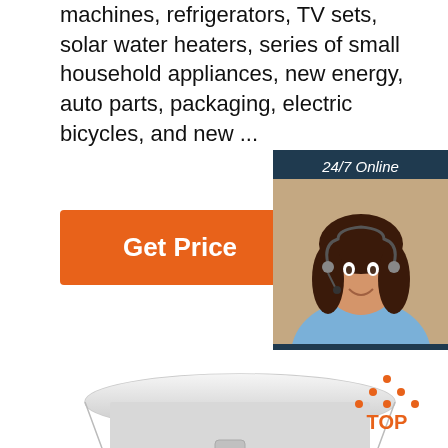machines, refrigerators, TV sets, solar water heaters, series of small household appliances, new energy, auto parts, packaging, electric bicycles, and new ...
[Figure (illustration): Orange 'Get Price' button]
[Figure (illustration): Customer service chat panel with '24/7 Online' header, photo of woman with headset, 'Click here for free chat!' text and orange QUOTATION button]
[Figure (photo): Stainless steel commercial meat grinder with red and blue knobs, perforated front plate]
[Figure (illustration): Orange 'TOP' back-to-top icon with triangle dots]